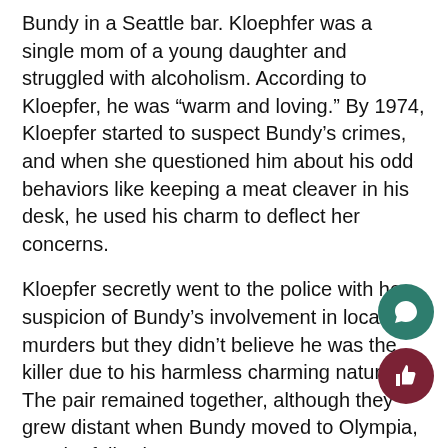Bundy in a Seattle bar. Kloephfer was a single mom of a young daughter and struggled with alcoholism. According to Kloepfer, he was “warm and loving.” By 1974, Kloepfer started to suspect Bundy’s crimes, and when she questioned him about his odd behaviors like keeping a meat cleaver in his desk, he used his charm to deflect her concerns.
Kloepfer secretly went to the police with her suspicion of Bundy’s involvement in local murders but they didn’t believe he was the killer due to his harmless charming nature. The pair remained together, although they grew distant when Bundy moved to Olympia, WA the following year.
In 1975, Kloepfer went to the police again. This time she had evidence that helped them arrest Bundy. Bundy confessed to Kleopfer over the phone from his prison cell that he had tried to kill her and couldn’t